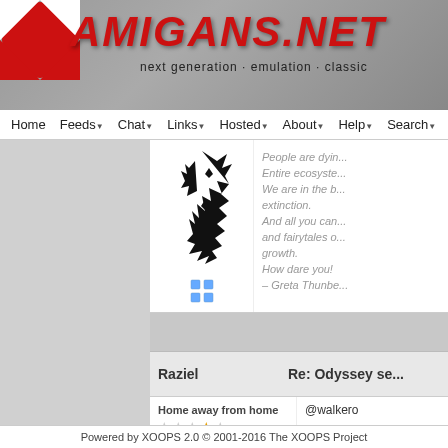[Figure (screenshot): Amigans.net website header with red checkered ball logo, red italic AMIGANS.NET title text, and tagline 'next generation · emulation · classic']
Home  Feeds  Chat  Links  Hosted  About  Help  Search
[Figure (illustration): Black dragon/creature silhouette icon]
People are dying. Entire ecosyste... We are in the b... extinction. And all you can... and fairytales o... growth. How dare you! – Greta Thunbe...
Raziel
Re: Odyssey se...
Home away from home
@walkero
aaaaand, i hav...
https://www.hvs...
Powered by XOOPS 2.0 © 2001-2016 The XOOPS Project